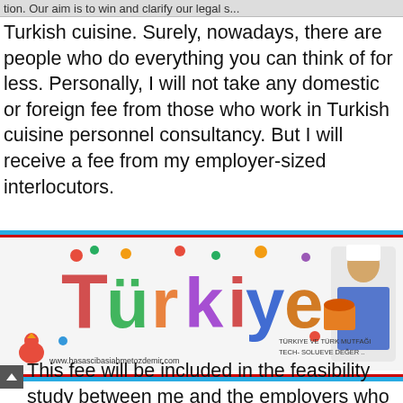Turkish cuisine. Surely, nowadays, there are people who do everything you can think of for less. Personally, I will not take any domestic or foreign fee from those who work in Turkish cuisine personnel consultancy. But I will receive a fee from my employer-sized interlocutors.
[Figure (illustration): Colorful banner showing the word 'Türkiye' formed from food items and vegetables, with a chef holding a book and bowl on the right side. Website URL www.hasascibasiahmetozdemir.com shown at bottom left. Text reads 'TÜRKIYE VE TÜRK MUTFAĞI TECH- SOLUEVE DEĞER...']
This fee will be included in the feasibility study between me and the employers who request